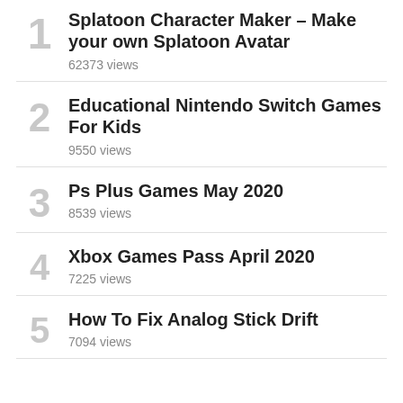Splatoon Character Maker – Make your own Splatoon Avatar
62373 views
Educational Nintendo Switch Games For Kids
9550 views
Ps Plus Games May 2020
8539 views
Xbox Games Pass April 2020
7225 views
How To Fix Analog Stick Drift
7094 views